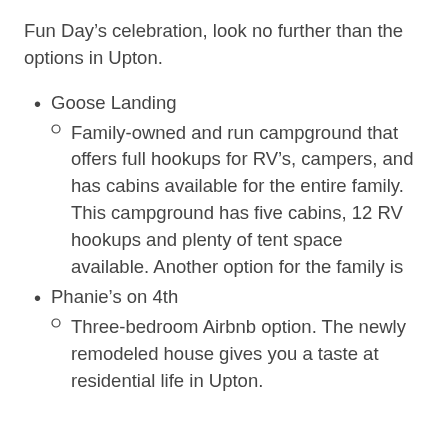Fun Day's celebration, look no further than the options in Upton.
Goose Landing
Family-owned and run campground that offers full hookups for RV's, campers, and has cabins available for the entire family. This campground has five cabins, 12 RV hookups and plenty of tent space available. Another option for the family is
Phanie's on 4th
Three-bedroom Airbnb option. The newly remodeled house gives you a taste at residential life in Upton.